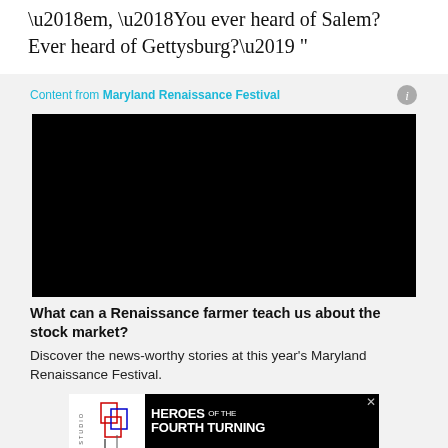‘em, ‘You ever heard of Salem? Ever heard of Gettysburg?’ ”
Content from Maryland Renaissance Festival
[Figure (other): Black video player rectangle]
What can a Renaissance farmer teach us about the stock market?
Discover the news-worthy stories at this year’s Maryland Renaissance Festival.
[Figure (other): Advertisement banner for Heroes of the Fourth Turning, begins September 21, Buy Tickets]